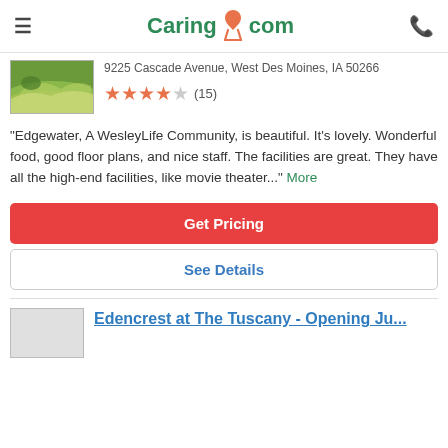Caring.com
9225 Cascade Avenue, West Des Moines, IA 50266
[Figure (other): 4.5 star rating with 15 reviews]
"Edgewater, A WesleyLife Community, is beautiful. It's lovely. Wonderful food, good floor plans, and nice staff. The facilities are great. They have all the high-end facilities, like movie theater..." More
Get Pricing
See Details
Edencrest at The Tuscany - Opening Ju...